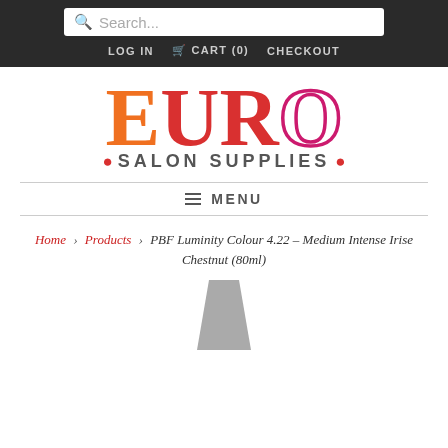Search... | LOG IN  CART (0)  CHECKOUT
[Figure (logo): Euro Salon Supplies logo with large EURO text (E in orange, URO in red with O as outline circle in crimson-pink) and subtitle • SALON SUPPLIES • in bold gray with red dots]
≡ MENU
Home › Products › PBF Luminity Colour 4.22 – Medium Intense Irise Chestnut (80ml)
[Figure (photo): Partial image of a product bottle/tube at the bottom of the page, shown in gray]